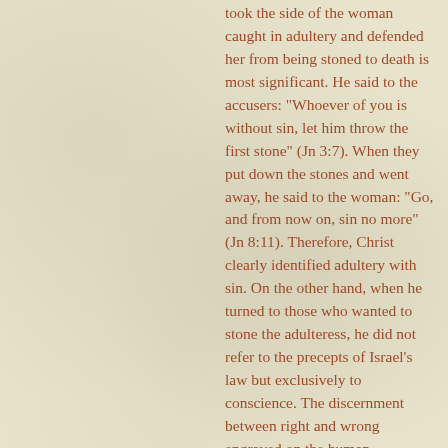took the side of the woman caught in adultery and defended her from being stoned to death is most significant. He said to the accusers: "Whoever of you is without sin, let him throw the first stone" (Jn 3:7). When they put down the stones and went away, he said to the woman: "Go, and from now on, sin no more" (Jn 8:11). Therefore, Christ clearly identified adultery with sin. On the other hand, when he turned to those who wanted to stone the adulteress, he did not refer to the precepts of Israel's law but exclusively to conscience. The discernment between right and wrong engraved on the human conscience can show itself to be deeper